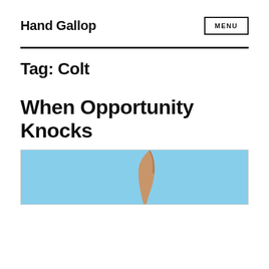Hand Gallop
Tag: Colt
When Opportunity Knocks
[Figure (photo): A photo showing what appears to be a horse leg against a blue sky background]